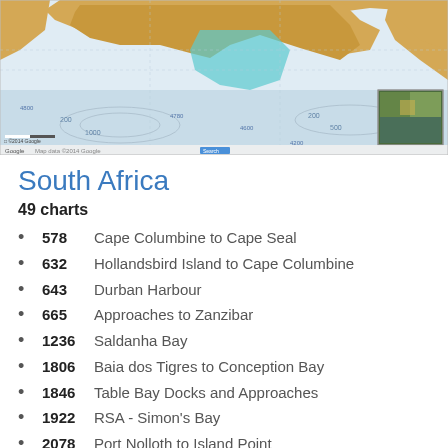[Figure (map): Nautical/topographic map of South Africa coastal region showing bathymetric data, coastal outlines in orange/teal, with a small inset satellite image in the lower right corner. Includes depth soundings, place names, and Google Maps attribution.]
South Africa
49 charts
578   Cape Columbine to Cape Seal
632   Hollandsbird Island to Cape Columbine
643   Durban Harbour
665   Approaches to Zanzibar
1236   Saldanha Bay
1806   Baia dos Tigres to Conception Bay
1846   Table Bay Docks and Approaches
1922   RSA - Simon's Bay
2078   Port Nolloth to Island Point
2095   Cape St Blaize to Port S. John's
3211   Zanzibar Harbour
3793   Shixini Point to Port S Johns
3794   Port S Johns to Port Shepstone
3795   Port Shepstone to Cooper Light
3797   Green Point to Tongaat Bluff